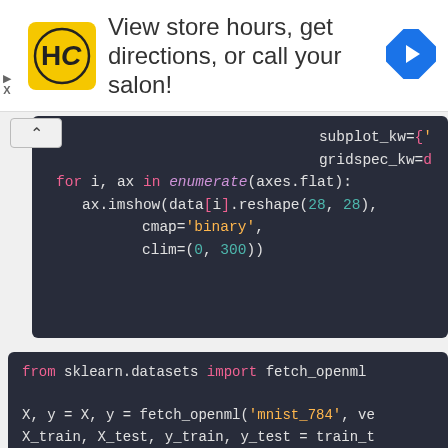[Figure (screenshot): Advertisement banner: HC logo, text 'View store hours, get directions, or call your salon!', navigation arrow icon]
[Figure (screenshot): Python code block showing subplot_kw, gridspec_kw parameters, for loop with enumerate(axes.flat), ax.imshow(data[i].reshape(28, 28), cmap='binary', clim=(0, 300))]
[Figure (screenshot): Python code block: from sklearn.datasets import fetch_openml; X, y = X, y = fetch_openml('mnist_784', ve...; X_train, X_test, y_train, y_test = train_t...; X_sample = X_test[:1600:100]]
[Figure (screenshot): Python code block: pipe = Pipeline([]